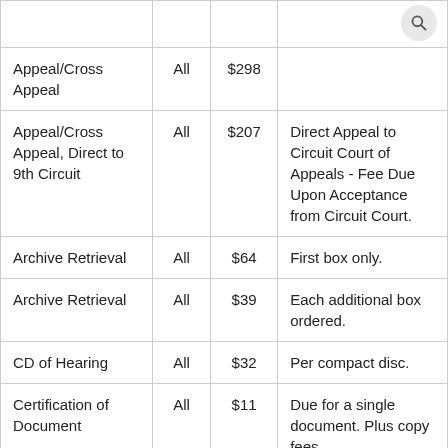|  |  |  |  |
| --- | --- | --- | --- |
| Appeal/Cross Appeal | All | $298 |  |
| Appeal/Cross Appeal, Direct to 9th Circuit | All | $207 | Direct Appeal to Circuit Court of Appeals - Fee Due Upon Acceptance from Circuit Court. |
| Archive Retrieval | All | $64 | First box only. |
| Archive Retrieval | All | $39 | Each additional box ordered. |
| CD of Hearing | All | $32 | Per compact disc. |
| Certification of Document | All | $11 | Due for a single document. Plus copy fees. |